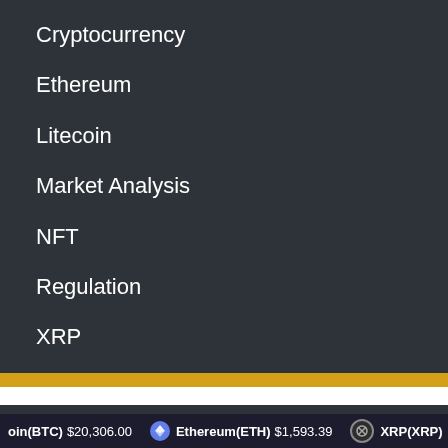Cryptocurrency
Ethereum
Litecoin
Market Analysis
NFT
Regulation
XRP
Archives
August 2022
oin(BTC) $20,306.00   Ethereum(ETH) $1,593.39   XRP(XRP)